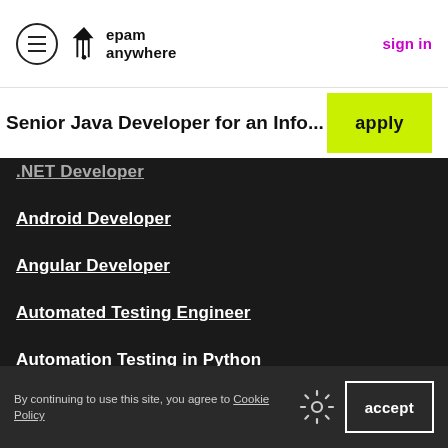epam anywhere — sign in
Senior Java Developer for an Info...
.NET Developer
Android Developer
Angular Developer
Automated Testing Engineer
Automation Testing in Python
AWS Cloud Engineer
By continuing to use this site, you agree to Cookie Policy